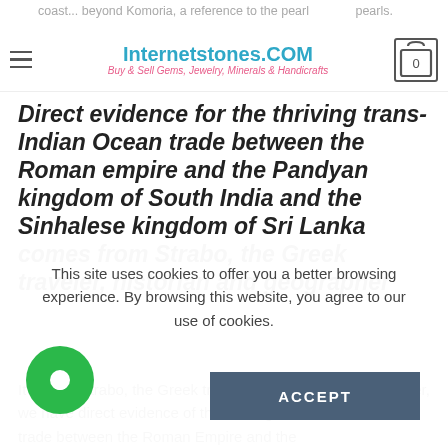coast... beyond Komoria, a reference to the pearl fishery coast... pearls.
Internetstones.COM — Buy & Sell Gems, Jewelry, Minerals & Handicrafts
Direct evidence for the thriving trans-Indian Ocean trade between the Roman empire and the Pandyan kingdom of South India and the Sinhalese kingdom of Sri Lanka comes from Strabo, the Greek traveler, historian and geographer
It is from Strabo, the Greek traveler, historian and geographer, we have direct evidence of the thriving trans-Indian Ocean trade between the Roman Empire and the
This site uses cookies to offer you a better browsing experience. By browsing this website, you agree to our use of cookies.